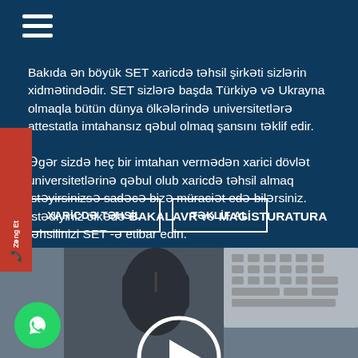[Figure (screenshot): Hamburger menu icon with three white horizontal lines on dark blue background]
Bakıda ən böyük SET xaricdə təhsil şirkəti sizlərin xidmətindədir. SET sizlərə başda Türkiyə və Ukrayna olmaqla bütün dünya ölkələrində universitetlərə attestatla imtahansız qəbul olmaq şansını təklif edir.
Əgər sizdə heç bir imtahan vermədən xarici dövlət universitetlərinə qəbul olub xaricdə təhsil almaq istəyirsinizsə sadəcə bizə müraciət edə bilərsiniz.
İstədiyiniz ölkədə BAKALAVR və MAGİSTURATURA təhsilinizi SET -ə etibar edin.
[Figure (other): Red vertical side tab with phone icon and Azerbaijani text]
[Figure (other): Two buttons: XARİCDƏ TƏHSİL and TƏKLİF AL with white borders]
[Figure (photo): Photo of a computer mouse and keyboard on a desk with a video play button overlay and WhatsApp icon in bottom left]